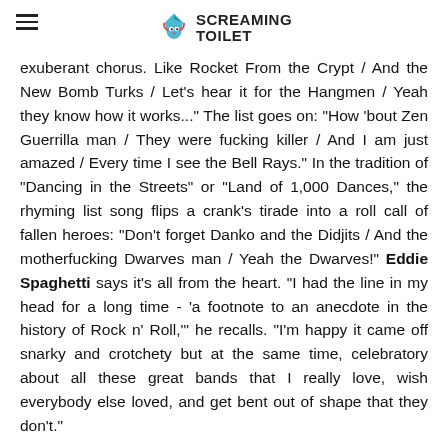Screaming Toilet
exuberant chorus. Like Rocket From the Crypt / And the New Bomb Turks / Let's hear it for the Hangmen / Yeah they know how it works..." The list goes on: "How 'bout Zen Guerrilla man / They were fucking killer / And I am just amazed / Every time I see the Bell Rays." In the tradition of "Dancing in the Streets" or "Land of 1,000 Dances," the rhyming list song flips a crank's tirade into a roll call of fallen heroes: "Don't forget Danko and the Didjits / And the motherfucking Dwarves man / Yeah the Dwarves!" Eddie Spaghetti says it's all from the heart. "I had the line in my head for a long time - 'a footnote to an anecdote in the history of Rock n' Roll,'" he recalls. "I'm happy it came off snarky and crotchety but at the same time, celebratory about all these great bands that I really love, wish everybody else loved, and get bent out of shape that they don't."